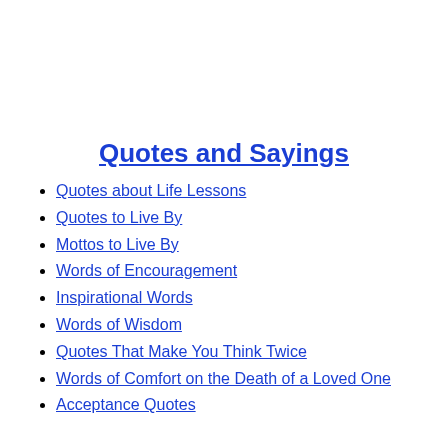Quotes and Sayings
Quotes about Life Lessons
Quotes to Live By
Mottos to Live By
Words of Encouragement
Inspirational Words
Words of Wisdom
Quotes That Make You Think Twice
Words of Comfort on the Death of a Loved One
Acceptance Quotes